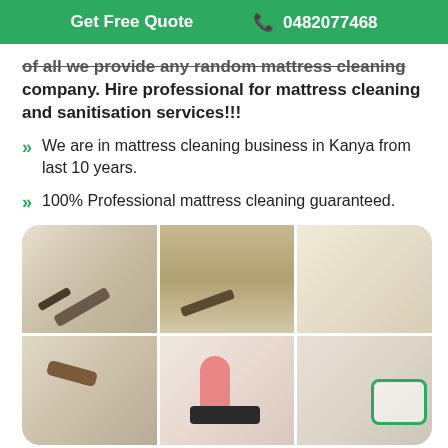Get Free Quote   📞 0482077468
of all we provide any random mattress cleaning company. Hire professional for mattress cleaning and sanitisation services!!!
We are in mattress cleaning business in Kanya from last 10 years.
100% Professional mattress cleaning guaranteed.
[Figure (photo): A 2x3 grid of photos showing mattress cleaning: steam cleaning tools on white mattress surfaces, a pink-gloved hand with vacuum, dirty/stained mattress, and clean mattress with a green-bordered icon overlay.]